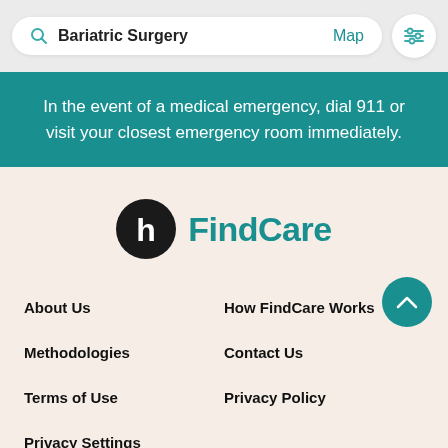Bariatric Surgery  Map
In the event of a medical emergency, dial 911 or visit your closest emergency room immediately.
[Figure (logo): Healthline FindCare logo: black circle with white 'h' icon next to teal 'FindCare' text]
About Us
How FindCare Works
Methodologies
Contact Us
Terms of Use
Privacy Policy
Privacy Settings